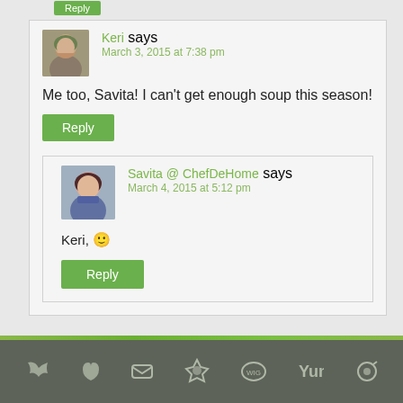Keri says
March 3, 2015 at 7:38 pm
Me too, Savita! I can't get enough soup this season!
Reply
Savita @ ChefDeHome says
March 4, 2015 at 5:12 pm
Keri, 🙂
Reply